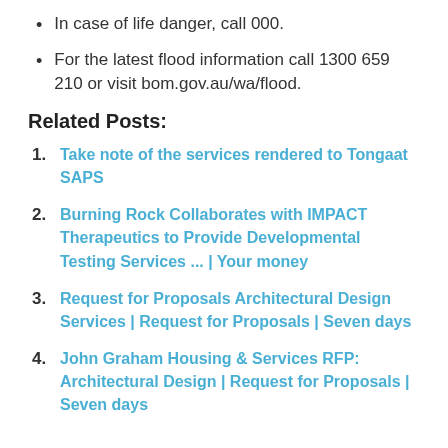In case of life danger, call 000.
For the latest flood information call 1300 659 210 or visit bom.gov.au/wa/flood.
Related Posts:
Take note of the services rendered to Tongaat SAPS
Burning Rock Collaborates with IMPACT Therapeutics to Provide Developmental Testing Services ... | Your money
Request for Proposals Architectural Design Services | Request for Proposals | Seven days
John Graham Housing & Services RFP: Architectural Design | Request for Proposals | Seven days